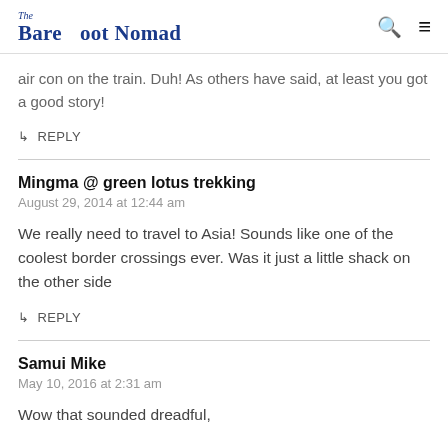The Barefoot Nomad
air con on the train. Duh! As others have said, at least you got a good story!
↳  REPLY
Mingma @ green lotus trekking
August 29, 2014 at 12:44 am
We really need to travel to Asia! Sounds like one of the coolest border crossings ever. Was it just a little shack on the other side
↳  REPLY
Samui Mike
May 10, 2016 at 2:31 am
Wow that sounded dreadful,